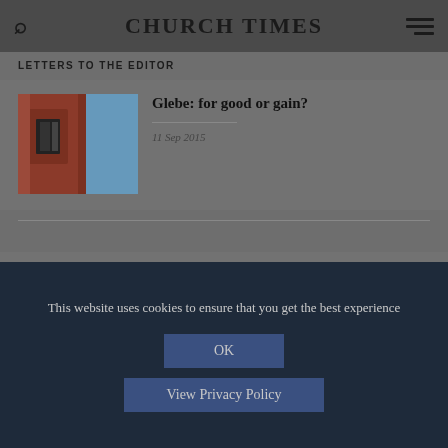CHURCH TIMES
LETTERS TO THE EDITOR
[Figure (photo): Red brick building/column detail against blue sky]
Glebe: for good or gain?
11 Sep 2015
[Figure (photo): Red brick building/column detail against blue sky]
Ecclesiastical's profits strike a sour note for struggling parishes
11 Sep 2015
This website uses cookies to ensure that you get the best experience
OK
View Privacy Policy